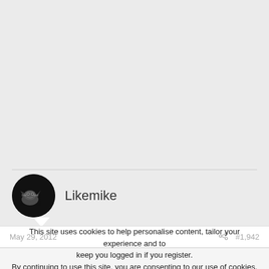Likemike
May 29, 2012  #1,942
This site uses cookies to help personalise content, tailor your experience and to keep you logged in if you register.
By continuing to use this site, you are consenting to our use of cookies.
✓ Accept   Learn more...